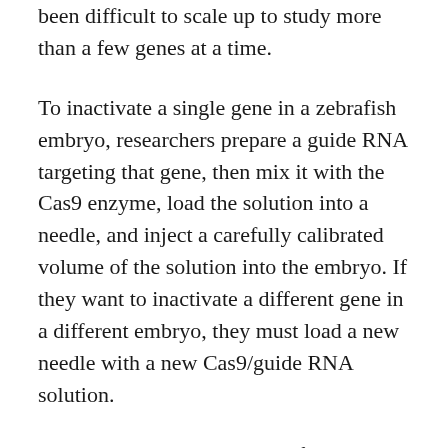been difficult to scale up to study more than a few genes at a time.
To inactivate a single gene in a zebrafish embryo, researchers prepare a guide RNA targeting that gene, then mix it with the Cas9 enzyme, load the solution into a needle, and inject a carefully calibrated volume of the solution into the embryo. If they want to inactivate a different gene in a different embryo, they must load a new needle with a new Cas9/guide RNA solution.
The process has always been focused on a single gene or a single modification at a time. So if you want to do 100 genes, it's 100 times as much